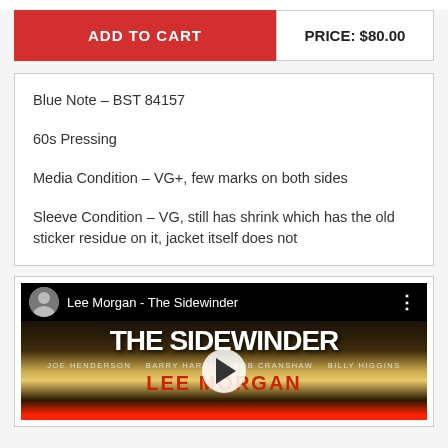ADD TO CART
PRICE: $80.00
Blue Note – BST 84157

60s Pressing

Media Condition – VG+, few marks on both sides

Sleeve Condition – VG, still has shrink which has the old sticker residue on it, jacket itself does not
[Figure (screenshot): YouTube video thumbnail for 'Lee Morgan - The Sidewinder' showing album cover with bold white text 'THE SIDEWINDER' and musician credits including Joe Henderson, Barry Harris, Bob Cranshaw, Billy Higgins, with a play button overlay.]